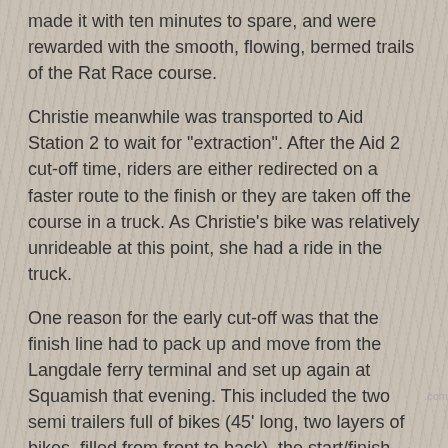made it with ten minutes to spare, and were rewarded with the smooth, flowing, bermed trails of the Rat Race course.
Christie meanwhile was transported to Aid Station 2 to wait for "extraction". After the Aid 2 cut-off time, riders are either redirected on a faster route to the finish or they are taken off the course in a truck. As Christie's bike was relatively unrideable at this point, she had a ride in the truck.
One reason for the early cut-off was that the finish line had to pack up and move from the Langdale ferry terminal and set up again at Squamish that evening. This included the two semi trailers full of bikes (45' long, two layers of bikes, filled from front to back), the start/finish tent, the medical tents and RV, the bike wash and mechanics, the announcer and timing people, and all the cyclists. Cyclists walked on to the ferry at Langdale and caught a bus from Horseshoe Bay up to Squamish.
Obviously because we had our car there was slightly less stress, except that Eric was out on the trail, Christie was at the finish line, and both of them needed to check in their